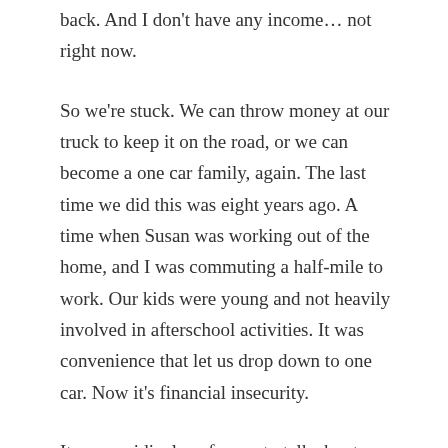back. And I don't have any income… not right now.
So we're stuck. We can throw money at our truck to keep it on the road, or we can become a one car family, again. The last time we did this was eight years ago. A time when Susan was working out of the home, and I was commuting a half-mile to work. Our kids were young and not heavily involved in afterschool activities. It was convenience that let us drop down to one car. Now it's financial insecurity.
It seems ridiculous for me to talk about financial insecurity. I have a comfortable home, money in the bank, and a plethora of fresh-frozen fruit and meat in the freezer. In fact, Susan and I are about to restart our annual breakfast cooking at Gettysburg's cold-weather homeless shelter that runs from mid-October through